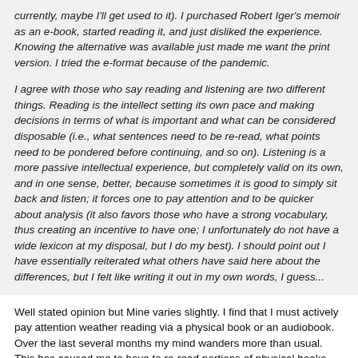currently, maybe I'll get used to it). I purchased Robert Iger's memoir as an e-book, started reading it, and just disliked the experience. Knowing the alternative was available just made me want the print version. I tried the e-format because of the pandemic.
I agree with those who say reading and listening are two different things. Reading is the intellect setting its own pace and making decisions in terms of what is important and what can be considered disposable (i.e., what sentences need to be re-read, what points need to be pondered before continuing, and so on). Listening is a more passive intellectual experience, but completely valid on its own, and in one sense, better, because sometimes it is good to simply sit back and listen; it forces one to pay attention and to be quicker about analysis (it also favors those who have a strong vocabulary, thus creating an incentive to have one; I unfortunately do not have a wide lexicon at my disposal, but I do my best). I should point out I have essentially reiterated what others have said here about the differences, but I felt like writing it out in my own words, I guess...
Well stated opinion but Mine varies slightly. I find that I must actively pay attention weather reading via a physical book or an audiobook. Over the last several months my mind wanders more than usual. This has caused me to have to re-read portions of physical books and to re-listen to portions of Audio books. If I am not in a position to focus the reading experience is very different but the things that impact my focus impacts both audio and physical books. I can read a book or listen to an audio book while my mind is not present with equal ease. I will not remember what I read in either case.
On a side note. For those here who would like to try an audio book I have an